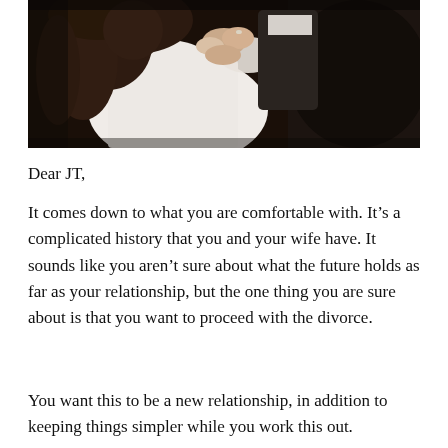[Figure (photo): Wedding couple dancing; bride in white lace dress holding groom's hand, both wearing rings, dark background]
Dear JT,
It comes down to what you are comfortable with. It's a complicated history that you and your wife have. It sounds like you aren't sure about what the future holds as far as your relationship, but the one thing you are sure about is that you want to proceed with the divorce.
You want this to be a new relationship, in addition to keeping things simpler while you work this out.